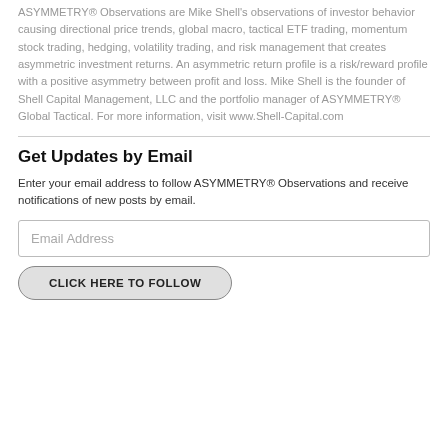ASYMMETRY® Observations are Mike Shell's observations of investor behavior causing directional price trends, global macro, tactical ETF trading, momentum stock trading, hedging, volatility trading, and risk management that creates asymmetric investment returns. An asymmetric return profile is a risk/reward profile with a positive asymmetry between profit and loss. Mike Shell is the founder of Shell Capital Management, LLC and the portfolio manager of ASYMMETRY® Global Tactical. For more information, visit www.Shell-Capital.com
Get Updates by Email
Enter your email address to follow ASYMMETRY® Observations and receive notifications of new posts by email.